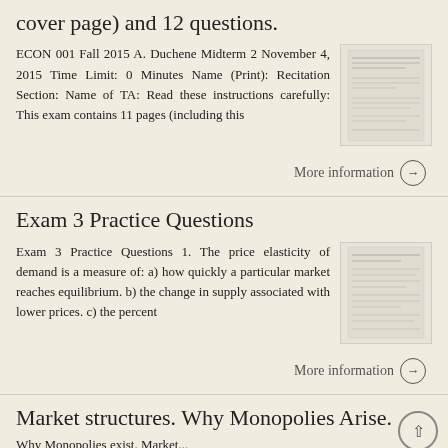cover page) and 12 questions.
ECON 001 Fall 2015 A. Duchene Midterm 2 November 4, 2015 Time Limit: 0 Minutes Name (Print): Recitation Section: Name of TA: Read these instructions carefully: This exam contains 11 pages (including this
More information →
Exam 3 Practice Questions
Exam 3 Practice Questions 1. The price elasticity of demand is a measure of: a) how quickly a particular market reaches equilibrium. b) the change in supply associated with lower prices. c) the percent
More information →
Market structures. Why Monopolies Arise.